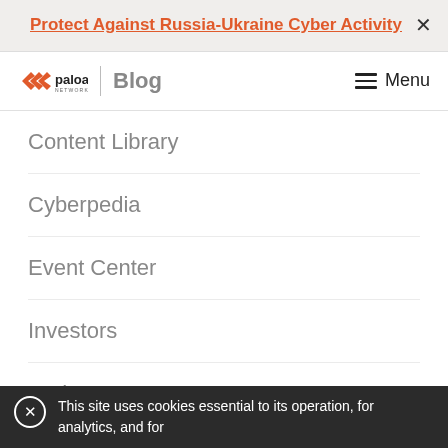Protect Against Russia-Ukraine Cyber Activity
[Figure (logo): Palo Alto Networks logo with Blog label and Menu button]
Content Library
Cyberpedia
Event Center
Investors
Tech Docs
Unit 42
This site uses cookies essential to its operation, for analytics, and for